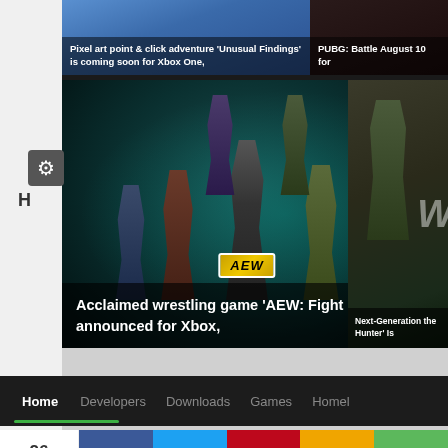[Figure (screenshot): Top card: Pixel art point and click adventure game article thumbnail with blue/teal game imagery]
Pixel art point & click adventure 'Unusual Findings' is coming soon for Xbox One,
[Figure (screenshot): Top right card: PUBG Battlegrounds article thumbnail - partial view]
PUBG: Battle August 10 for
[Figure (screenshot): Main large card: AEW Fight Forever wrestling game art showing wrestlers with AEW logo on dark teal background]
Acclaimed wrestling game 'AEW: Fight Forever' announced for Xbox,
[Figure (screenshot): Right partial card: Next-Generation Hunter game art showing soldier in woodland camouflage with W text]
Next-Generation the Hunter' Is
Home
Developers
Downloads
Games
Homel
26 Shares
60